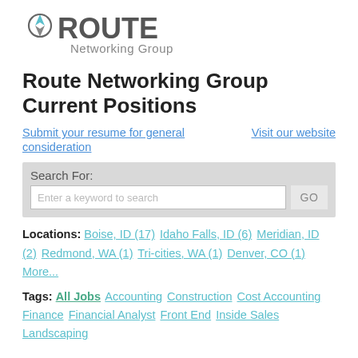[Figure (logo): Route Networking Group logo — large bold dark grey ROUTE text with a compass/arrow icon, and 'Networking Group' subtitle below in lighter grey]
Route Networking Group Current Positions
Submit your resume for general consideration   Visit our website
Search For: [Enter a keyword to search] GO
Locations: Boise, ID (17) Idaho Falls, ID (6) Meridian, ID (2) Redmond, WA (1) Tri-cities, WA (1) Denver, CO (1) More...
Tags: All Jobs Accounting Construction Cost Accounting Finance Financial Analyst Front End Inside Sales Landscaping